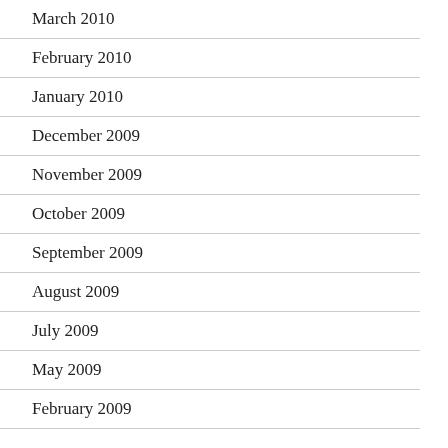March 2010
February 2010
January 2010
December 2009
November 2009
October 2009
September 2009
August 2009
July 2009
May 2009
February 2009